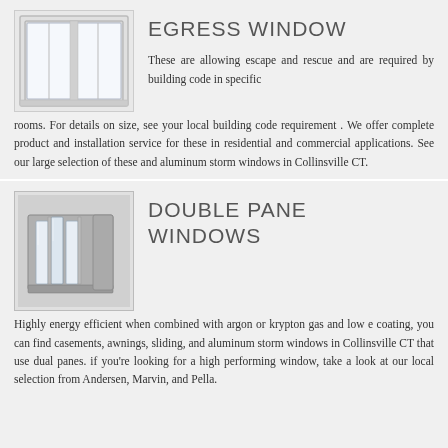[Figure (illustration): White egress window with two sliding panes, viewed from front]
EGRESS WINDOW
These are allowing escape and rescue and are required by building code in specific rooms. For details on size, see your local building code requirement . We offer complete product and installation service for these in residential and commercial applications. See our large selection of these and aluminum storm windows in Collinsville CT.
[Figure (illustration): Cross-section view of double pane window showing glass layers and frame components]
DOUBLE PANE WINDOWS
Highly energy efficient when combined with argon or krypton gas and low e coating, you can find casements, awnings, sliding, and aluminum storm windows in Collinsville CT that use dual panes. if you're looking for a high performing window, take a look at our local selection from Andersen, Marvin, and Pella.